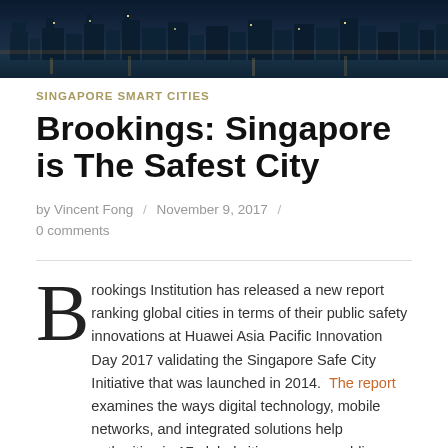[Figure (photo): Night cityscape/skyline photo used as hero banner at the top of the article page]
SINGAPORE SMART CITIES
Brookings: Singapore is The Safest City
by Vincent Fong / November 9, 2017 / 0 comments
Brookings Institution has released a new report ranking global cities in terms of their public safety innovations at Huawei Asia Pacific Innovation Day 2017 validating the Singapore Safe City Initiative that was launched in 2014. The report examines the ways digital technology, mobile networks, and integrated solutions help authorities in 17 global cities manage public safety and law